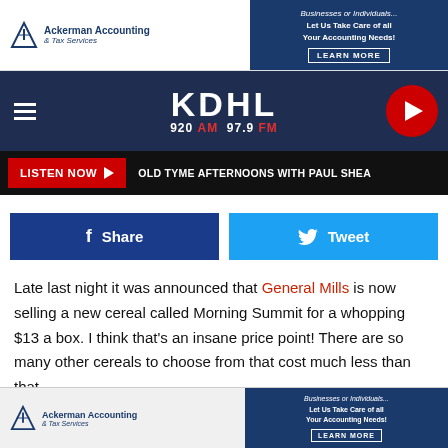[Figure (screenshot): Ackerman Accounting & Tax Services advertisement banner at top]
[Figure (logo): KDHL 920 AM 97.9 FM radio station navigation bar with hamburger menu and play button]
LISTEN NOW ▶   OLD TYME AFTERNOONS WITH PAUL SHEA
[Figure (infographic): Facebook Share and Twitter Tweet social sharing buttons]
Late last night it was announced that General Mills is now selling a new cereal called Morning Summit for a whopping $13 a box. I think that's an insane price point! There are so many other cereals to choose from that cost much less than that.
Bring Me the News writes, however, that "General Mills is
[Figure (screenshot): Ackerman Accounting & Tax Services advertisement banner at bottom]